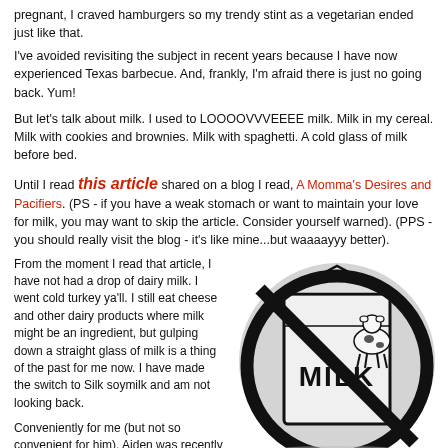pregnant, I craved hamburgers so my trendy stint as a vegetarian ended just like that.
I've avoided revisiting the subject in recent years because I have now experienced Texas barbecue. And, frankly, I'm afraid there is just no going back. Yum!
But let's talk about milk. I used to LOOOOVVVEEEE milk. Milk in my cereal. Milk with cookies and brownies. Milk with spaghetti. A cold glass of milk before bed.
Until I read this article shared on a blog I read, A Momma's Desires and Pacifiers. (PS - if you have a weak stomach or want to maintain your love for milk, you may want to skip the article. Consider yourself warned). (PPS - you should really visit the blog - it's like mine...but waaaayyy better).
From the moment I read that article, I have not had a drop of dairy milk. I went cold turkey ya'll. I still eat cheese and other dairy products where milk might be an ingredient, but gulping down a straight glass of milk is a thing of the past for me now. I have made the switch to Silk soymilk and am not looking back.
[Figure (illustration): A black and white illustration showing a 'no milk' symbol: a circle with a diagonal slash over a milk carton with a cow drawing and the word MILK. Copyright mh.]
Conveniently for me (but not so convenient for him), Aiden was recently diagnosed with a slight dairy intolerance so the switch to Silk was necessary in our household. Plus, my kids love it and honestly didn't even bat an eye at the change.